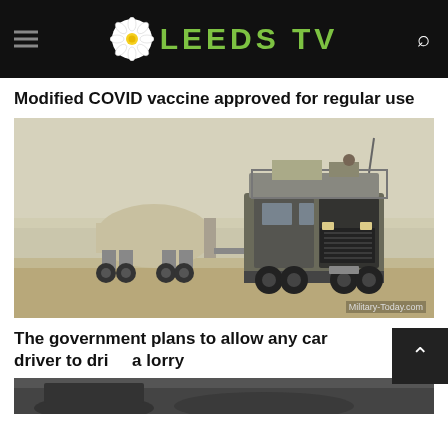LEEDS TV
Modified COVID vaccine approved for regular use
[Figure (photo): Military heavy truck towing a large tanker/water bowser in a desert/arid environment. Image credit: Military-Today.com]
The government plans to allow any car driver to drive a lorry
[Figure (photo): Partial view of a vehicle, bottom of page]